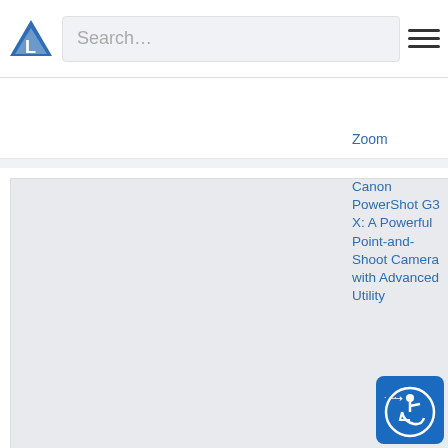[Figure (screenshot): Website screenshot showing a camera review blog with a search bar, logo, and article listings including Canon PowerShot G3 X and Canon PowerShot SX620 HS and Pentax 645Z]
Search…
Zoom
Canon PowerShot G3 X: A Powerful Point-and-Shoot Camera with Advanced Utility
Canon PowerShot SX620 HS: A Solid Point-and-Shoot Camera with 25x Optical Zoom
Pentax 645Z: Affordable, Medium Format Fun